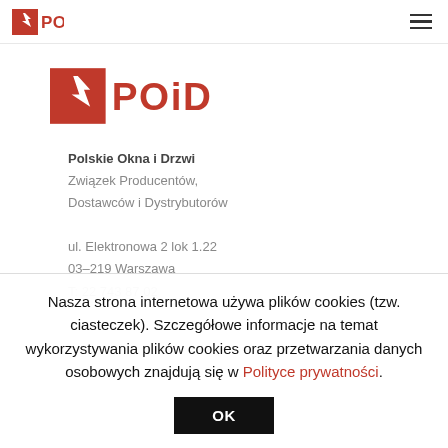POiD (navigation logo + hamburger menu)
[Figure (logo): POiD logo - large version with red square containing white bird/eagle and bold text POiD]
Polskie Okna i Drzwi
Związek Producentów,
Dostawców i Dystrybutorów

ul. Elektronowa 2 lok 1.22
03-219 Warszawa
T: 22 743 87 02
Nasza strona internetowa używa plików cookies (tzw. ciasteczek). Szczegółowe informacje na temat wykorzystywania plików cookies oraz przetwarzania danych osobowych znajdują się w Polityce prywatności.
OK